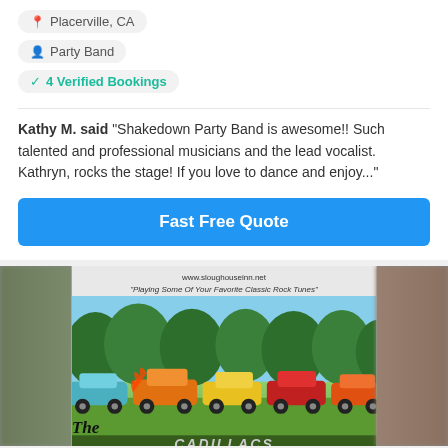Placerville, CA
Party Band
✓ 4 Verified Bookings
Kathy M. said "Shakedown Party Band is awesome!! Such talented and professional musicians and the lead vocalist. Kathryn, rocks the stage! If you love to dance and enjoy..."
Fast Free Quote
[Figure (photo): Photo of classic hot rod cars lined up at an outdoor car show with trees in the background. Text reads www.sloughouseinn.net and 'Playing Some Of Your Favorite Classic Rock Tunes'. The word 'The' appears at the bottom left with a band name partially visible.]